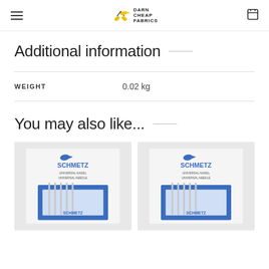Darn Cheap Fabrics — navigation header with hamburger menu and cart icon
Additional information
| WEIGHT | 0.02 kg |
| --- | --- |
| WEIGHT | 0.02 kg |
You may also like...
[Figure (photo): Schmetz Universal Needle packaging card showing needles]
[Figure (photo): Schmetz Universal Needle packaging card showing needles (second product)]